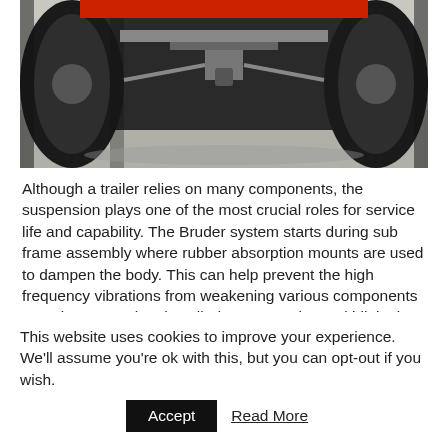[Figure (photo): Undercarriage view of a trailer showing two large off-road tires, axle, suspension components, and red frame structure, photographed from below against a light ground surface.]
Although a trailer relies on many components, the suspension plays one of the most crucial roles for service life and capability. The Bruder system starts during sub frame assembly where rubber absorption mounts are used to dampen the body. This can help prevent the high frequency vibrations from weakening various components over time. Next they installed a progressive multi-link air suspension with four independent a-arms for a soft yet responsive ride. An internal compressor controls the airbags via remote and allows the driver to adjust for
This website uses cookies to improve your experience. We'll assume you're ok with this, but you can opt-out if you wish.